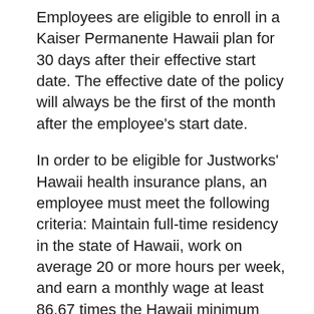Employees are eligible to enroll in a Kaiser Permanente Hawaii plan for 30 days after their effective start date. The effective date of the policy will always be the first of the month after the employee's start date.
In order to be eligible for Justworks' Hawaii health insurance plans, an employee must meet the following criteria: Maintain full-time residency in the state of Hawaii, work on average 20 or more hours per week, and earn a monthly wage at least 86.67 times the Hawaii minimum wage.
The following individuals are excluded from health care insurance coverage: Contractors, employees paid solely through commission, Federal, State, or County employees, individuals working for a son, daughter, or